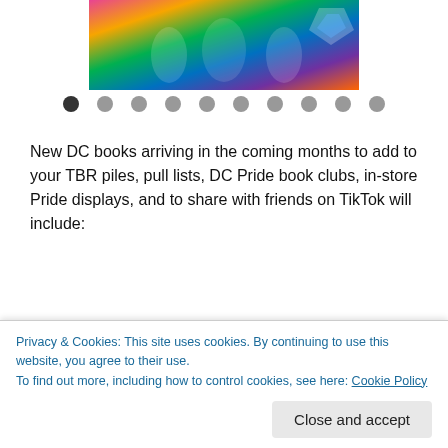[Figure (illustration): Comic book style illustration showing diverse characters celebrating Pride with rainbow flags and colorful costumes]
[Figure (infographic): Carousel navigation dots — 10 dots total, first one dark/active, rest grey]
New DC books arriving in the coming months to add to your TBR piles, pull lists, DC Pride book clubs, in-store Pride displays, and to share with friends on TikTok will include:
DC Pride 2021 (4/26)
Galaxy: The Prettiest Star (5/17)
Crush & Lobo (5/17)
Privacy & Cookies: This site uses cookies. By continuing to use this website, you agree to their use.
To find out more, including how to control cookies, see here: Cookie Policy
Close and accept